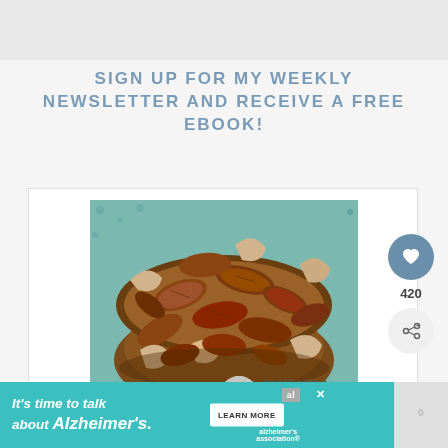SIGN UP FOR MY WEEKLY NEWSLETTER AND RECEIVE A FREE EBOOK!
[Figure (photo): A wooden bowl filled with mixed roasted nuts including pecans and cashews on a teal patterned surface]
420
WHAT'S NEXT → Rosemary Lemon Ricot...
It's time to talk about Alzheimer's. LEARN MORE